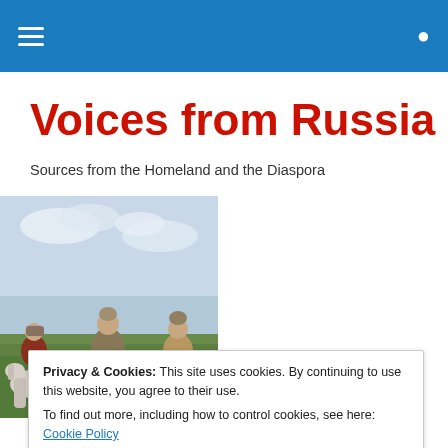≡  🔍
Voices from Russia
Sources from the Homeland and the Diaspora
[Figure (illustration): Painting of three Russian bogatyr (epic heroes) on horseback in a steppe landscape, dressed in medieval armor and helmets, looking into the distance.]
Privacy & Cookies: This site uses cookies. By continuing to use this website, you agree to their use.
To find out more, including how to control cookies, see here: Cookie Policy
Heroes Gone?